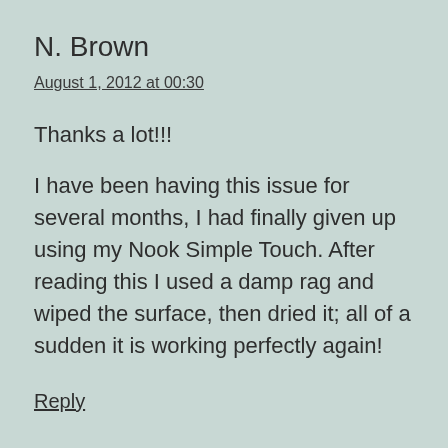N. Brown
August 1, 2012 at 00:30
Thanks a lot!!!
I have been having this issue for several months, I had finally given up using my Nook Simple Touch. After reading this I used a damp rag and wiped the surface, then dried it; all of a sudden it is working perfectly again!
Reply